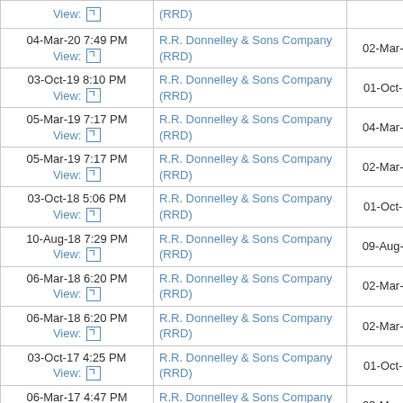| Filed | Filer | Period of Report | Type |
| --- | --- | --- | --- |
| 04-Mar-20 7:49 PM
View: | R.R. Donnelley & Sons Company (RRD) | 02-Mar-20 | Pay... |
| 03-Oct-19 8:10 PM
View: | R.R. Donnelley & Sons Company (RRD) | 01-Oct-19 | Pay... |
| 05-Mar-19 7:17 PM
View: | R.R. Donnelley & Sons Company (RRD) | 04-Mar-19 |  |
| 05-Mar-19 7:17 PM
View: | R.R. Donnelley & Sons Company (RRD) | 02-Mar-19 | Pay... |
| 03-Oct-18 5:06 PM
View: | R.R. Donnelley & Sons Company (RRD) | 01-Oct-18 | Pay... |
| 10-Aug-18 7:29 PM
View: | R.R. Donnelley & Sons Company (RRD) | 09-Aug-18 |  |
| 06-Mar-18 6:20 PM
View: | R.R. Donnelley & Sons Company (RRD) | 02-Mar-18 |  |
| 06-Mar-18 6:20 PM
View: | R.R. Donnelley & Sons Company (RRD) | 02-Mar-18 | Pay... |
| 03-Oct-17 4:25 PM
View: | R.R. Donnelley & Sons Company (RRD) | 01-Oct-17 | Pay... |
| 06-Mar-17 4:47 PM
View: | R.R. Donnelley & Sons Company (RRD) | 03-Mar-17 |  |
| 04-Oct-16 6:01 PM
View: | R.R. Donnelley & Sons Company (RRD) | 01-Oct-16 |  |
| 12-May-16 5:44 PM
View: | Deluxe Corp. (DLX) | 12-May-16 | Ma... |